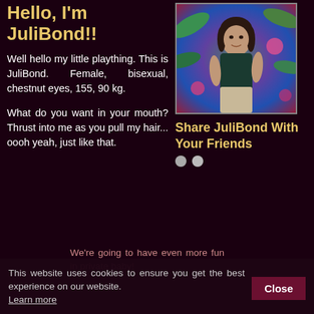Hello, I'm JuliBond!!
Well hello my little plaything. This is JuliBond. Female, bisexual, chestnut eyes, 155, 90 kg.
[Figure (photo): Profile photo of JuliBond, a woman with dark hair in a tropical floral background setting]
Share JuliBond With Your Friends
What do you want in your mouth? Thrust into me as you pull my hair... oooh yeah, just like that.
We're going to have even more fun in private baby!
This website uses cookies to ensure you get the best experience on our website. Learn more